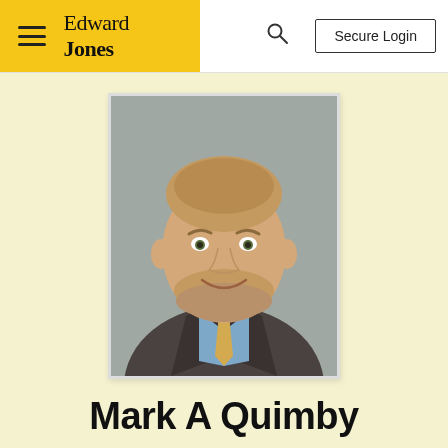Edward Jones — Secure Login navigation bar
[Figure (photo): Professional headshot of Mark A Quimby, a middle-aged man with short light brown hair and beard, wearing a dark grey suit jacket, blue shirt, and gold/yellow patterned tie, photographed against a neutral grey background.]
Mark A Quimby